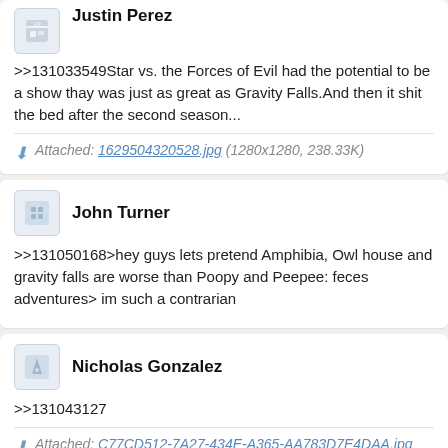>>131033549Star vs. the Forces of Evil had the potential to be a show thay was just as great as Gravity Falls.And then it shit the bed after the second season...
Attached: 1629504320528.jpg (1280x1280, 238.33K)
John Turner
>>131050168>hey guys lets pretend Amphibia, Owl house and gravity falls are worse than Poopy and Peepee: feces adventures> im such a contrarian
Nicholas Gonzalez
>>131043127
Attached: C77CD512-7A27-434E-A365-AA783D7E4DAA.jpg (4348x3695, 3.99M)